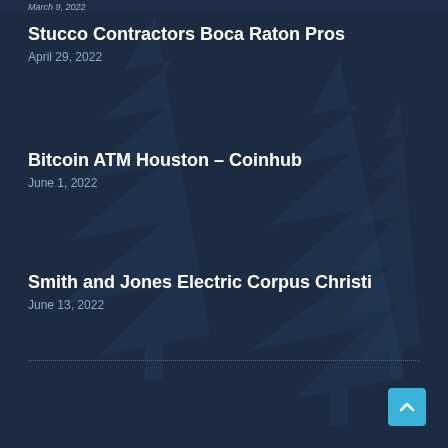March 9, 2022
Stucco Contractors Boca Raton Pros
April 29, 2022
Bitcoin ATM Houston – Coinhub
June 1, 2022
Smith and Jones Electric Corpus Christi
June 13, 2022
© KC Biz Directory
Made with ❤ Citation Vault